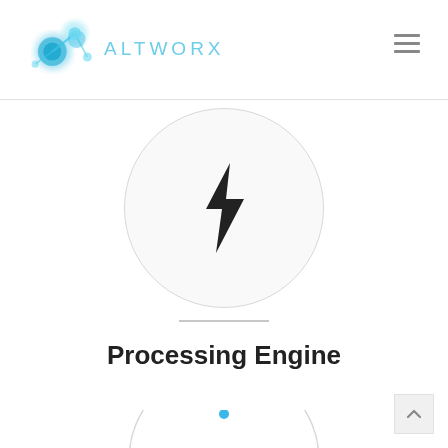ALTWORX logo and navigation
[Figure (logo): ALTWORX logo with blue circular node graphic and teal text 'ALTWORX' in spaced uppercase letters]
[Figure (illustration): Large light gray circle containing a dark lightning bolt icon, representing a Processing Engine feature]
Processing Engine
[Figure (illustration): Partial light gray circle at bottom of page, partially visible, with a small blue dot at top center]